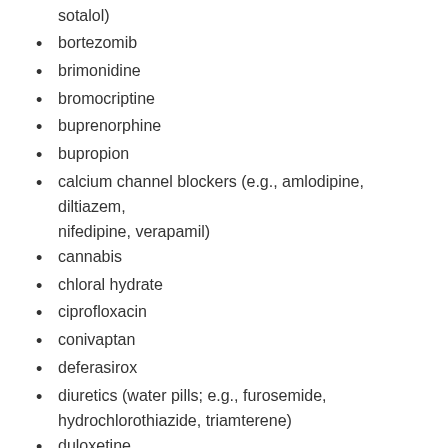sotalol)
bortezomib
brimonidine
bromocriptine
buprenorphine
bupropion
calcium channel blockers (e.g., amlodipine, diltiazem, nifedipine, verapamil)
cannabis
chloral hydrate
ciprofloxacin
conivaptan
deferasirox
diuretics (water pills; e.g., furosemide, hydrochlorothiazide, triamterene)
duloxetine